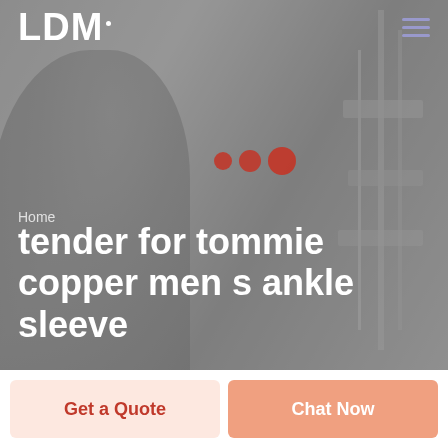[Figure (screenshot): Website hero section with grayscale background photo of a person near signposts. Contains LDM logo, hamburger menu, decorative red dots, breadcrumb navigation, and large white title text.]
LDM
Home
tender for tommie copper men s ankle sleeve
Get a Quote
Chat Now